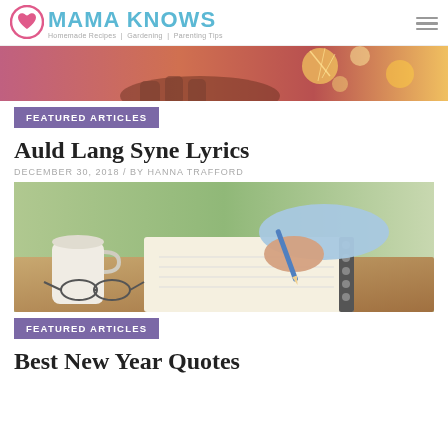MAMA KNOWS — Homemade Recipes | Gardening | Parenting Tips
[Figure (photo): Hands holding sparklers at a New Year celebration, festive bokeh lights in background]
FEATURED ARTICLES
Auld Lang Syne Lyrics
DECEMBER 30, 2018 / BY HANNA TRAFFORD
[Figure (photo): Person's hand writing in a spiral notebook with a pencil, coffee mug and glasses on a wooden table]
FEATURED ARTICLES
Best New Year Quotes